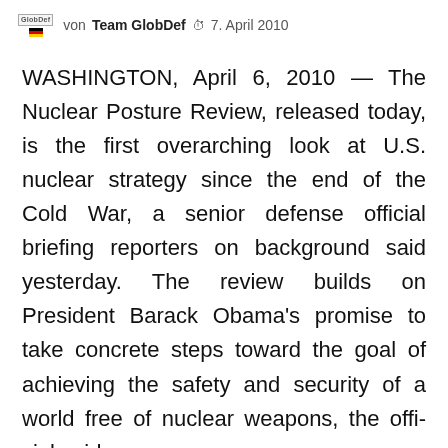von Team GlobDef  7. April 2010
WASHINGTON, April 6, 2010 — The Nuclear Posture Review, released today, is the first overarching look at U.S. nuclear strategy since the end of the Cold War, a senior defense official briefing reporters on background said yesterday. The review builds on President Barack Obama's promise to take concrete steps toward the goal of achieving the safety and security of a world free of nuclear weapons, the official said.
A second element, the official added, was to maintain a nuclear deterrent as long as those weapons are in use, ensuring the safety and offer